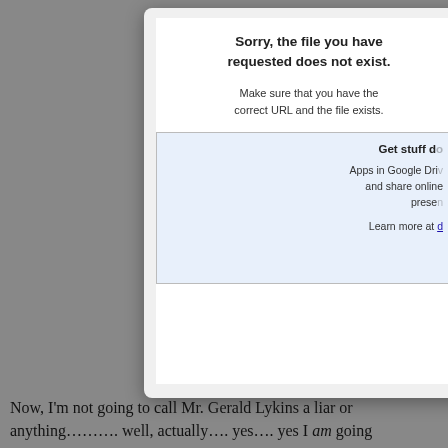[Figure (screenshot): Google Drive error page screenshot showing 'Sorry, the file you have requested does not exist.' with a promo box for Google Drive apps saying 'Get stuff done. Apps in Google Drive let you create, edit and share online documents, spreadsheets and presentations. Learn more at d...']
Now, I'm not going to call Mr. Gerald Lykins a liar or anything………. well, actually…. yes…. yes I am going